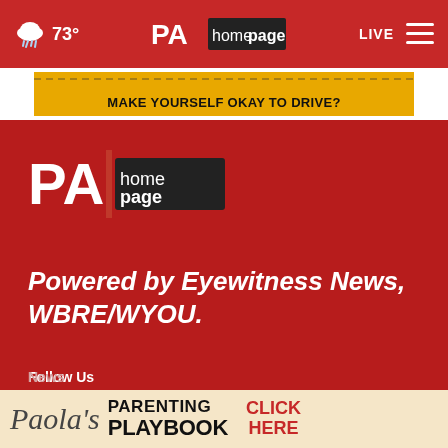73° — PA Homepage — LIVE
[Figure (screenshot): Top navigation bar with weather icon, 73° temperature, PA Homepage logo centered, LIVE label and hamburger menu on right]
[Figure (screenshot): Yellow ad banner: MAKE YOURSELF OKAY TO DRIVE?]
[Figure (logo): PA Homepage logo large, white PA letters on red background with black homepage text]
Powered by Eyewitness News, WBRE/WYOU.
Follow Us
[Figure (infographic): Social media icons: Facebook, Twitter, Instagram, YouTube, Email]
[Figure (screenshot): Bottom advertisement: Paola's Parenting Playbook - Click Here]
News